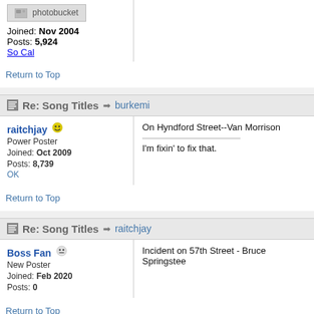[Figure (screenshot): Photobucket image placeholder banner]
Joined: Nov 2004
Posts: 5,924
So Cal
Return to Top
Re: Song Titles → burkemi
raitchjay 😊
Power Poster
Joined: Oct 2009
Posts: 8,739
OK
On Hyndford Street--Van Morrison

I'm fixin' to fix that.
Return to Top
Re: Song Titles → raitchjay
Boss Fan 😐
New Poster
Joined: Feb 2020
Posts: 0
Incident on 57th Street - Bruce Springsteen
Return to Top